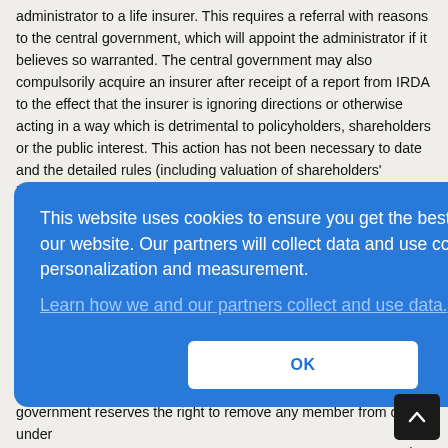administrator to a life insurer. This requires a referral with reasons to the central government, which will appoint the administrator if it believes so warranted. The central government may also compulsorily acquire an insurer after receipt of a report from IRDA to the effect that the insurer is ignoring directions or otherwise acting in a way which is detrimental to policyholders, shareholders or the public interest. This action has not been necessary to date and the detailed rules (including valuation of shareholders' interest) have yet to be published. The IRDA Act, 1999, provides that the IRDA Board shall consist of the Chairperson; not more t
[Figure (screenshot): Cookie consent overlay on a blue background. Text reads: 'This website uses cookies to ensure you get the best experience on our website. Our partners will collect data and use cookies for ad personalization and measurement.' A link reads 'Learn how we and our partners collect and use data.' An OK button is centered at the bottom.]
government reserves the right to remove any member from office under